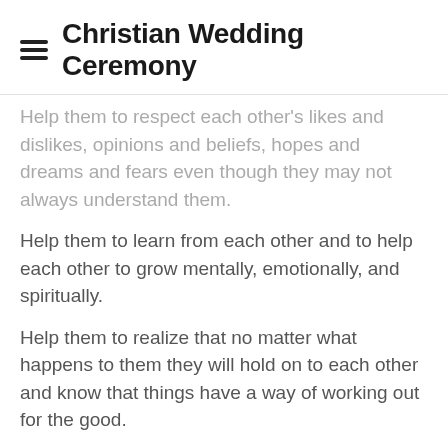Christian Wedding Ceremony
Help them to respect each other's likes and dislikes, opinions and beliefs, hopes and dreams and fears even though they may not always understand them.
Help them to learn from each other and to help each other to grow mentally, emotionally, and spiritually.
Help them to realize that no matter what happens to them they will hold on to each other and know that things have a way of working out for the good.
Help them to create for their children a peaceful, stable home of love as a foundation on which they can build their lives.
But most of all, dear God, help them to keep lit the torch of love' that they now share so that by their